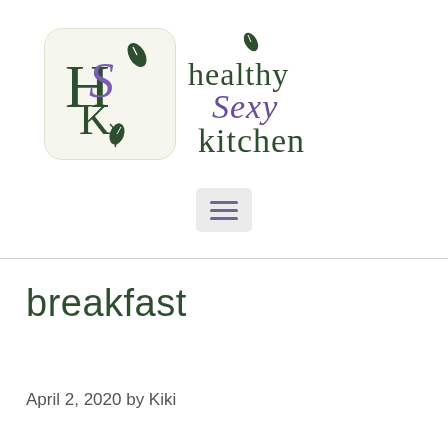[Figure (logo): Healthy Sexy Kitchen logo: a rounded square with stylized HSK monogram letters in dark green with a leaf/vine motif, alongside the text 'healthy Sexy kitchen' in dark green and purple script.]
[Figure (other): Hamburger menu icon (three horizontal lines) in a light grey rounded rectangle box]
breakfast
April 2, 2020 by Kiki